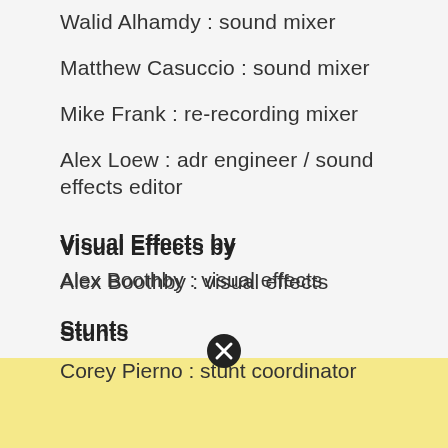Walid Alhamdy : sound mixer
Matthew Casuccio : sound mixer
Mike Frank : re-recording mixer
Alex Loew : adr engineer / sound effects editor
Visual Effects by
Alex Boothby : visual effects
Stunts
Corey Pierno : stunt coordinator